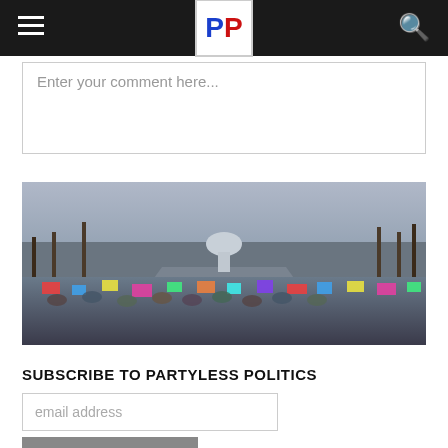PP — Partyless Politics logo, hamburger menu, search icon
Enter your comment here...
[Figure (photo): A large crowd of protesters in Washington DC holding signs, with the US Capitol building visible in the background. Bold text overlay reads 'Writers Wanted' in blue letters with red shadow on a red-tinted banner.]
SUBSCRIBE TO PARTYLESS POLITICS
email address
SUBSCRIBE